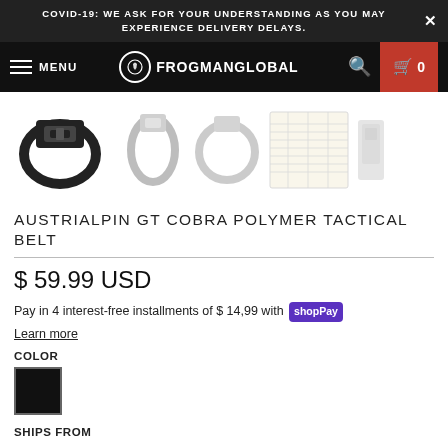COVID-19: WE ASK FOR YOUR UNDERSTANDING AS YOU MAY EXPERIENCE DELIVERY DELAYS.
MENU  FROGMANGLOBAL  0
[Figure (photo): Product images of the Austrialpin GT Cobra Polymer Tactical Belt showing belt with buckle from various angles and a sizing chart]
AUSTRIALPIN GT COBRA POLYMER TACTICAL BELT
$ 59.99 USD
Pay in 4 interest-free installments of $ 14,99 with Shop Pay
Learn more
COLOR
[Figure (other): Black color swatch square]
SHIPS FROM